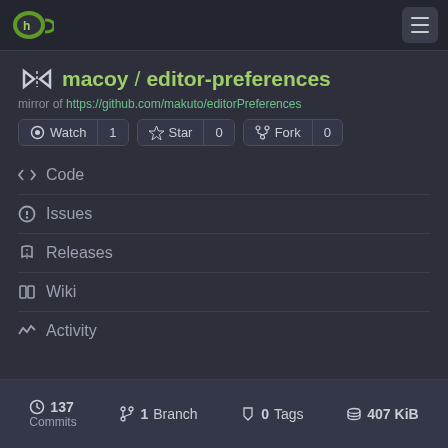Gitea navigation bar with logo and hamburger menu
macoy / editor-preferences
mirror of https://github.com/makuto/editorPreferences
Watch 1
Star 0
Fork 0
Code
Issues
Releases
Wiki
Activity
137 Commits   1 Branch   0 Tags   407 KiB